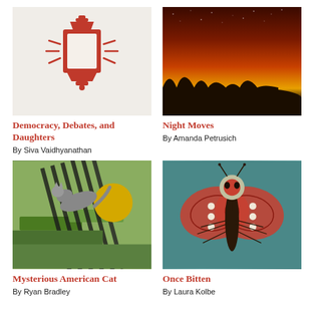[Figure (illustration): Red lantern icon illustration on beige background with rays emanating from sides]
Democracy, Debates, and Daughters
By Siva Vaidhyanathan
[Figure (photo): Night sky with red/orange/yellow gradient glow, silhouetted trees at bottom]
Night Moves
By Amanda Petrusich
[Figure (illustration): Collage art with cat leaping across striped lines and a yellow circle on green background]
Mysterious American Cat
By Ryan Bradley
[Figure (illustration): Detailed illustrated mosquito with decorative wings and skull patterns on teal background]
Once Bitten
By Laura Kolbe